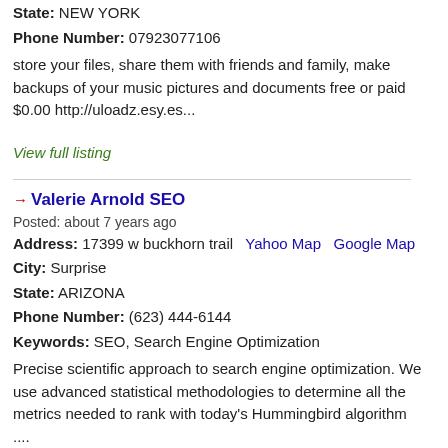State: NEW YORK
Phone Number: 07923077106
store your files, share them with friends and family, make backups of your music pictures and documents free or paid $0.00 http://uloadz.esy.es...
View full listing
Valerie Arnold SEO
Posted: about 7 years ago
Address: 17399 w buckhorn trail  Yahoo Map  Google Map
City: Surprise
State: ARIZONA
Phone Number: (623) 444-6144
Keywords: SEO, Search Engine Optimization
Precise scientific approach to search engine optimization. We use advanced statistical methodologies to determine all the metrics needed to rank with today's Hummingbird algorithm ....